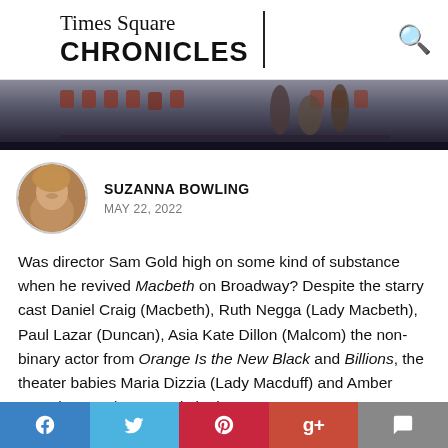Times Square CHRONICLES
[Figure (photo): Dark theater stage photo strip showing performers in the background]
SUZANNA BOWLING
MAY 22, 2022
Was director Sam Gold high on some kind of substance when he revived Macbeth on Broadway? Despite the starry cast Daniel Craig (Macbeth), Ruth Negga (Lady Macbeth), Paul Lazar (Duncan), Asia Kate Dillon (Malcom) the non-binary actor from Orange Is the New Black and Billions, the theater babies Maria Dizzia (Lady Macduff) and Amber Gray (Banquo), no one is in the
[Figure (other): Social sharing bar with Facebook, Twitter, Pinterest, Google+, and Comment buttons]